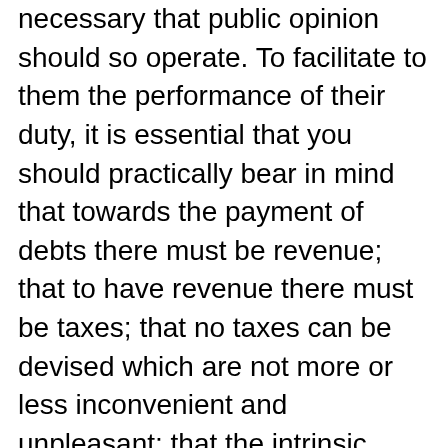necessary that public opinion should so operate. To facilitate to them the performance of their duty, it is essential that you should practically bear in mind that towards the payment of debts there must be revenue; that to have revenue there must be taxes; that no taxes can be devised which are not more or less inconvenient and unpleasant; that the intrinsic embarrassment, inseparable from the selection of the proper objects (which is always a choice of difficulties), ought to be a decisive motive for a candid construction of the conduct of the government in making it, and for a spirit of acquiescence in the measures for obtaining revenue, which the public exigencies may at any time dictate.
Observe good faith and justice towards all nations; cultivate peace and harmony with all. Religion and